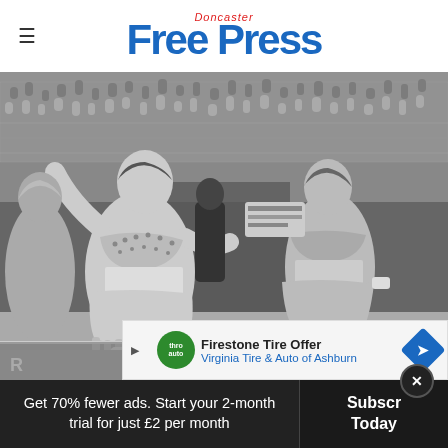Doncaster Free Press
[Figure (photo): Black and white photograph of two men dressed in cheerleader outfits on a sports field with a crowd in the background]
[Figure (other): Advertisement overlay: Firestone Tire Offer - Virginia Tire & Auto of Ashburn]
Get 70% fewer ads. Start your 2-month trial for just £2 per month
Subscribe Today